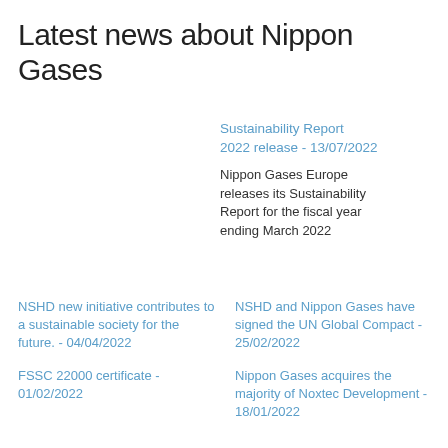Latest news about Nippon Gases
Sustainability Report 2022 release - 13/07/2022
Nippon Gases Europe releases its Sustainability Report for the fiscal year ending March 2022
NSHD new initiative contributes to a sustainable society for the future. - 04/04/2022
NSHD and Nippon Gases have signed the UN Global Compact - 25/02/2022
FSSC 22000 certificate - 01/02/2022
Nippon Gases acquires the majority of Noxtec Development - 18/01/2022